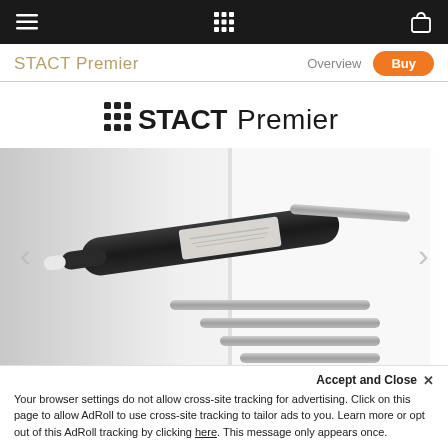Navigation bar with hamburger menu, grid icon, and bag icon
STACT Premier
Overview
Buy
[Figure (logo): STACT Premier logo with 3x3 dot grid and bold STACT text followed by light-weight Premier text]
[Figure (photo): Close-up product photo of a STACT wine rack with a dark wine bottle horizontally mounted on white wall-mounted metal pegs, additional empty pegs visible below]
Accept and Close ×
Your browser settings do not allow cross-site tracking for advertising. Click on this page to allow AdRoll to use cross-site tracking to tailor ads to you. Learn more or opt out of this AdRoll tracking by clicking here. This message only appears once.